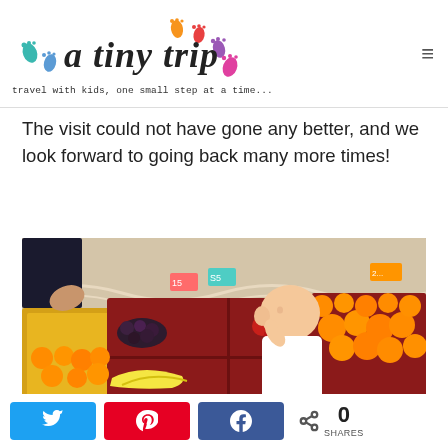[Figure (logo): A Tiny Trip blog logo with colorful footprint icons and cursive text]
travel with kids, one small step at a time...
The visit could not have gone any better, and we look forward to going back many more times!
[Figure (photo): A baby in a white shirt at a colorful fruit market display with oranges, dark fruits, and bananas in yellow and red bins]
0 SHARES